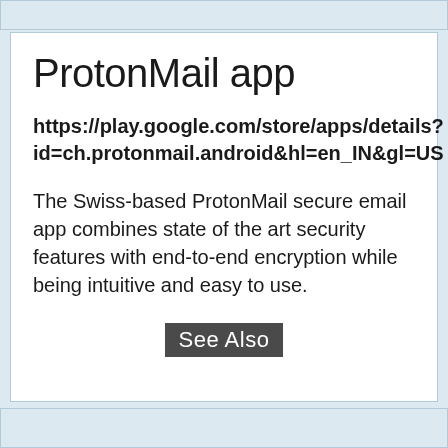ProtonMail app
https://play.google.com/store/apps/details?id=ch.protonmail.android&hl=en_IN&gl=US
The Swiss-based ProtonMail secure email app combines state of the art security features with end-to-end encryption while being intuitive and easy to use.
See Also